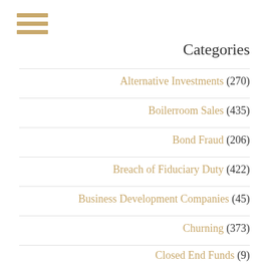[Figure (other): Hamburger menu icon with three horizontal golden/tan bars]
Categories
Alternative Investments (270)
Boilerroom Sales (435)
Bond Fraud (206)
Breach of Fiduciary Duty (422)
Business Development Companies (45)
Churning (373)
Closed End Funds (?)
Customer Loans